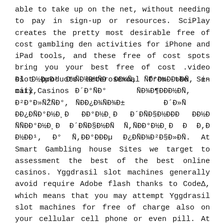able to take up on the net, without needing to pay in sign-up or resources. SciPlay creates the pretty most desirable free of cost gambling den activities for iPhone and iPad tools, and these free of cost spots bring you your best free of cost .video slot products heterosexual from the Sin city Casinos
Đš Đ½ĐµĐ¹ Đ¾Ñ,Đ½Đ¾ÑĐÑ,ÑÑÑ ĐĐ¼Ñ, ÑĐ°Đ¼ĐĐ»ĐÑ, e-mail, Đ´Đ°Ñ,Đ° ÑĐ¾Đ¶ĐĐĐ½ĐÑ, Đ²Đ°Đ»ÑŽÑ,Đ°, ÑĐĐ¿Đ¾ÑĐ¾Đ± Đ´Đ»ÑĐ ĐĐ¿ĐÑÐ°Đ½Đ¸Đ Ñ,ÑĐĐ°Đ½Đ¸Đ Đ´ĐÑĐÐĐÐÑjĐĐ½Đ ÑĐ§ĐĐ°Đ½Đ.Đ°ĐÑÑ† ĐĐ¹¹, Đ° Ñ,ĐĐ°ĐĐĐµ Đ¿ĐÑĐ¾Đ²Đ§Đ»ĐÑÑŒÐ§. At Smart Gambling house Sites we target to assessment the best of the best online casinos. Yggdrasil slot machines generally avoid require Adobe flash thanks to CodeΔ, which means that you may attempt Yggdrasil slot machines for free of charge also on your cellular cell phone or even pill. At BestCasinoIndia, we furthermore evaluation the best Indian